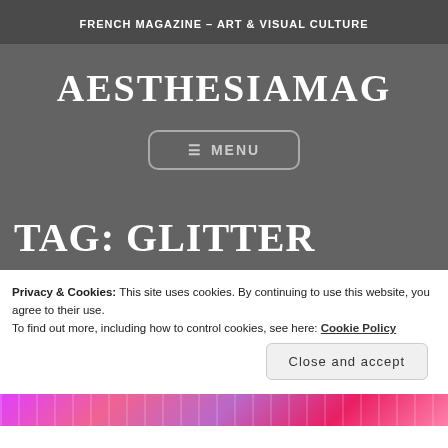FRENCH MAGAZINE – ART & VISUAL CULTURE
AESTHESIAMAG
[Figure (other): Menu navigation button with hamburger icon and MENU text]
TAG: GLITTER
Privacy & Cookies: This site uses cookies. By continuing to use this website, you agree to their use.
To find out more, including how to control cookies, see here: Cookie Policy
Close and accept
[Figure (photo): Colorful image strip at the bottom showing vibrant pink and purple hues]